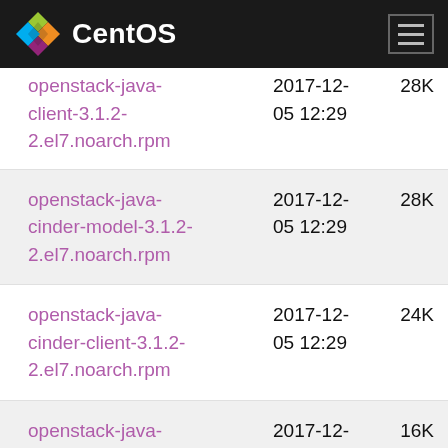CentOS
openstack-java-client-3.1.2-2.el7.noarch.rpm  2017-12-05 12:29  28K
openstack-java-cinder-model-3.1.2-2.el7.noarch.rpm  2017-12-05 12:29  28K
openstack-java-cinder-client-3.1.2-2.el7.noarch.rpm  2017-12-05 12:29  24K
openstack-java-ceilometer-model-3.1.2-2.el7.noarch.rpm  2017-12-05 12:29  16K